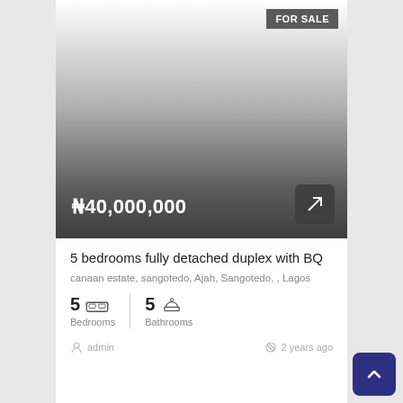[Figure (photo): Property listing image area with gradient overlay, showing FOR SALE badge, price ₦40,000,000, and expand icon button]
5 bedrooms fully detached duplex with BQ
canaan estate, sangotedo, Ajah, Sangotedo, , Lagos
5 Bedrooms  5 Bathrooms
admin  2 years ago